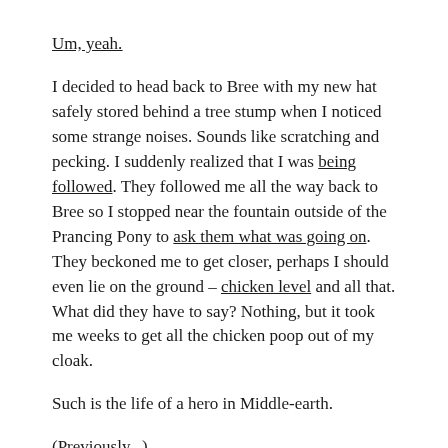Um, yeah.
I decided to head back to Bree with my new hat safely stored behind a tree stump when I noticed some strange noises. Sounds like scratching and pecking. I suddenly realized that I was being followed. They followed me all the way back to Bree so I stopped near the fountain outside of the Prancing Pony to ask them what was going on. They beckoned me to get closer, perhaps I should even lie on the ground – chicken level and all that. What did they have to say? Nothing, but it took me weeks to get all the chicken poop out of my cloak.
Such is the life of a hero in Middle-earth.
(Previously...)